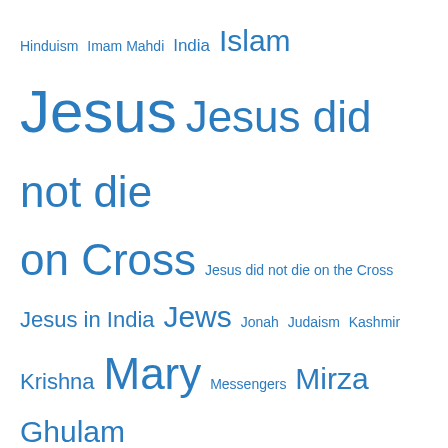[Figure (infographic): Tag cloud with religious and philosophical terms in varying sizes and blue color, including: Hinduism, Imam Mahdi, India, Islam, Jesus, Jesus did not die on Cross, Jesus did not die on the Cross, Jesus in India, Jews, Jonah, Judaism, Kashmir, Krishna, Mary, Messengers, Mirza Ghulam Ahmad, Mirza Masroor Ahmad, moral, Moses, Muhammad, Muslim, Muslims, Nature, One true God, Paul, Peace, Promised Messiah, Promised Messiah 1835-1908, Prophets, Protestants, Quran, rational, reason, religion, Revelation, science, Second Coming, sinful, scribes, skepticism, Socrates, son of God, spiritual, trinity, Word of God, YHWH, Zoroaster]
Blog Stats
116,032 hits